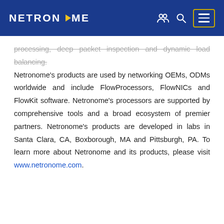NETRONOME
processing, deep packet inspection and dynamic load balancing. Netronome's products are used by networking OEMs, ODMs worldwide and include FlowProcessors, FlowNICs and FlowKit software. Netronome's processors are supported by comprehensive tools and a broad ecosystem of premier partners. Netronome's products are developed in labs in Santa Clara, CA, Boxborough, MA and Pittsburgh, PA. To learn more about Netronome and its products, please visit www.netronome.com.